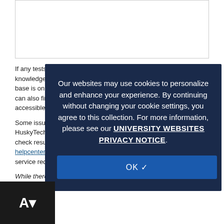[Figure (other): White rectangular box/iframe area at top of page]
If any tests failed, students can search the new LockDown Browser knowledge base for potential solutions. This view of the knowledge base is only accessible from within the Help Center area. Students can also find additional resources on the Respondus website, accessible through their preferred web browser.
Some issues may require contacting the IT Help Center or HuskyTech for additional assistance. Students can email system check results to their mailbox, then forward to helpcenter@uconn.edu. Doing so, will automatically generate a service request and associate it to the student's NetID.
While there is an option to enter a secondary email address when sending results, this is discouraged, as the ticket would not be associated with the student's NetID.
Our websites may use cookies to personalize and enhance your experience. By continuing without changing your cookie settings, you agree to this collection. For more information, please see our UNIVERSITY WEBSITES PRIVACY NOTICE.